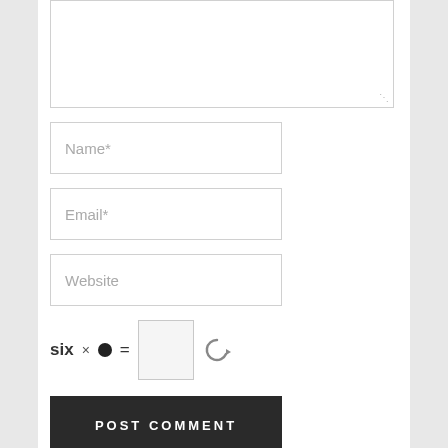[Figure (screenshot): Comment form fields: large textarea at top (partially visible), Name* input, Email* input, Website input, CAPTCHA row (six × bullet = input + refresh icon), POST COMMENT button, and WordPress spam blocked by CleanTalk footer text.]
Name*
Email*
Website
six × ● =
POST COMMENT
WordPress spam blocked by CleanTalk.